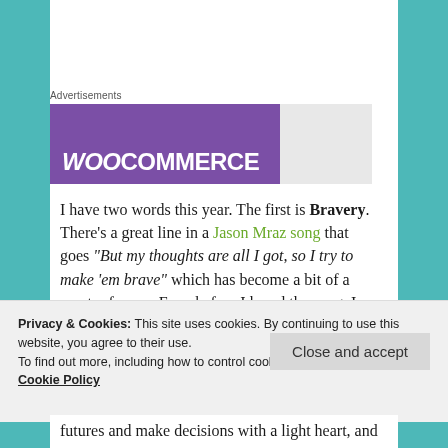Advertisements
[Figure (logo): WooCommerce advertisement banner with purple background and gray section]
I have two words this year. The first is Bravery. There’s a great line in a Jason Mraz song that goes “But my thoughts are all I got, so I try to make ‘em brave” which has become a bit of a mantra for me. Even before I heard the song, I promised in one of my wedding vows to approach our life
Privacy & Cookies: This site uses cookies. By continuing to use this website, you agree to their use.
To find out more, including how to control cookies, see here:
Cookie Policy
futures and make decisions with a light heart, and